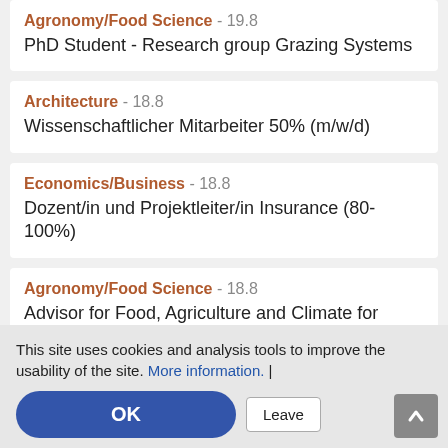Agronomy/Food Science - 19.8
PhD Student - Research group Grazing Systems
Architecture - 18.8
Wissenschaftlicher Mitarbeiter 50% (m/w/d)
Economics/Business - 18.8
Dozent/in und Projektleiter/in Insurance (80-100%)
Agronomy/Food Science - 18.8
Advisor for Food, Agriculture and Climate for
This site uses cookies and analysis tools to improve the usability of the site. More information. |